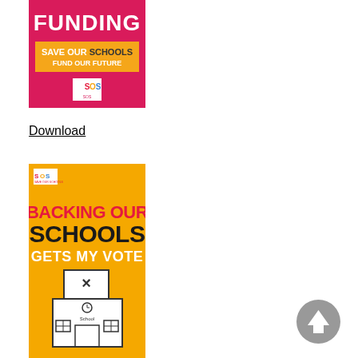[Figure (illustration): Pink background poster with white bold text 'FUNDING', orange banner with 'SAVE OUR SCHOOLS FUND OUR FUTURE', and SOS logo at bottom]
Download
[Figure (illustration): Yellow/orange background poster with text 'BACKING OUR SCHOOLS GETS MY VOTE' in black and red, illustration of a school building with a ballot box on top containing a paper with X mark. SOS logo in top left corner.]
[Figure (other): Grey circular back-to-top button with upward pointing arrow]